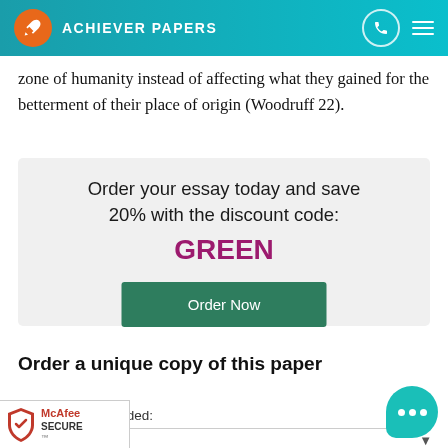ACHIEVER PAPERS
zone of humanity instead of affecting what they gained for the betterment of their place of origin (Woodruff 22).
[Figure (infographic): Promotional box with text 'Order your essay today and save 20% with the discount code: GREEN' and a green 'Order Now' button below]
Order a unique copy of this paper
Type of paper needed:
y (any type)
[Figure (logo): McAfee SECURE badge at bottom left corner]